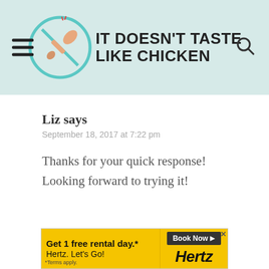[Figure (logo): It Doesn't Taste Like Chicken website header logo with navigation menu icon and search icon on a light teal background]
Liz says
September 18, 2017 at 7:22 pm
Thanks for your quick response! Looking forward to trying it!
[Figure (other): Hertz advertisement banner: Get 1 free rental day.* Hertz. Let's Go! Book Now. *Terms apply.]